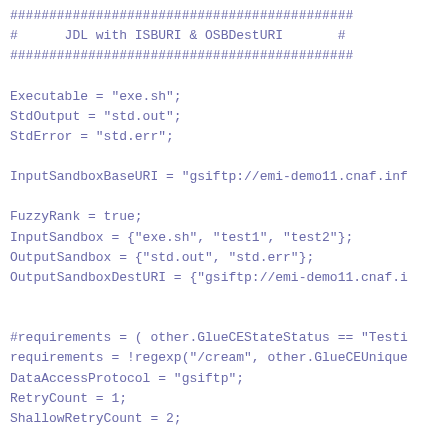############################################
#      JDL with ISBURI & OSBDestURI       #
############################################

Executable = "exe.sh";
StdOutput = "std.out";
StdError = "std.err";

InputSandboxBaseURI = "gsiftp://emi-demo11.cnaf.inf

FuzzyRank = true;
InputSandbox = {"exe.sh", "test1", "test2"};
OutputSandbox = {"std.out", "std.err"};
OutputSandboxDestURI = {"gsiftp://emi-demo11.cnaf.i


#requirements = ( other.GlueCEStateStatus == "Testi
requirements = !regexp("/cream", other.GlueCEUnique
DataAccessProtocol = "gsiftp";
RetryCount = 1;
ShallowRetryCount = 2;

[capannini@cert-17 certification.nocream]$ scp tmp/
root@emi-demo11's password: